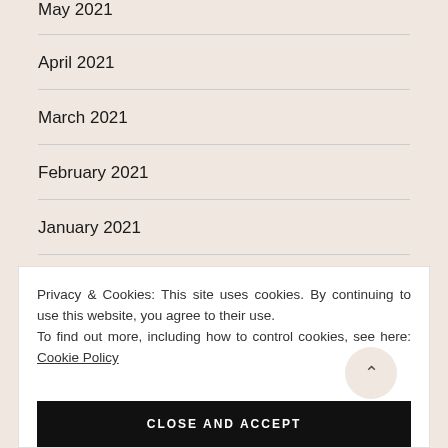May 2021
April 2021
March 2021
February 2021
January 2021
Privacy & Cookies: This site uses cookies. By continuing to use this website, you agree to their use. To find out more, including how to control cookies, see here: Cookie Policy
CLOSE AND ACCEPT